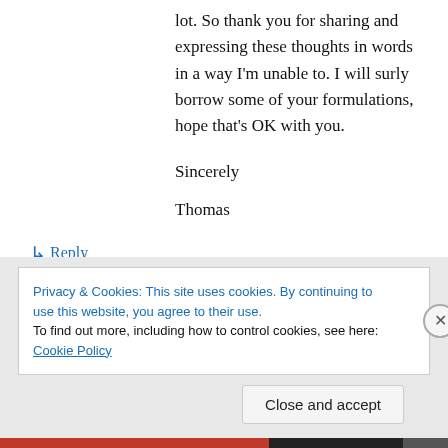lot. So thank you for sharing and expressing these thoughts in words in a way I'm unable to. I will surly borrow some of your formulations, hope that's OK with you.
Sincerely
Thomas
↳ Reply
Privacy & Cookies: This site uses cookies. By continuing to use this website, you agree to their use.
To find out more, including how to control cookies, see here: Cookie Policy
Close and accept